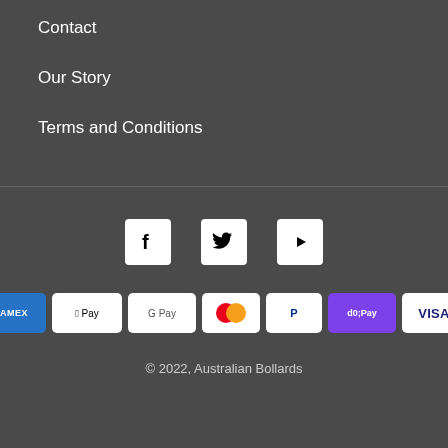Contact
Our Story
Terms and Conditions
[Figure (other): Social media icons: Facebook, Twitter, YouTube]
[Figure (other): Payment method badges: American Express, Apple Pay, Google Pay, Mastercard, PayPal, Shop Pay, Visa]
© 2022, Australian Bollards